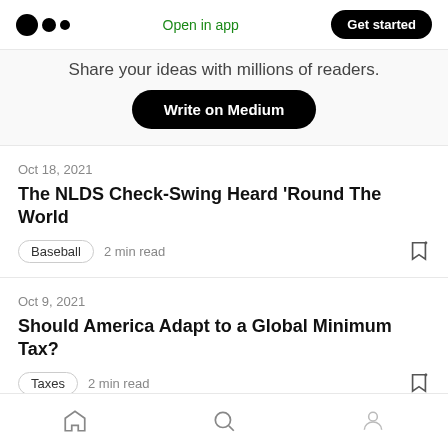Medium logo | Open in app | Get started
Share your ideas with millions of readers.
Write on Medium
Oct 18, 2021
The NLDS Check-Swing Heard ‘Round The World
Baseball  2 min read
Oct 9, 2021
Should America Adapt to a Global Minimum Tax?
Taxes  2 min read
Home | Search | Profile